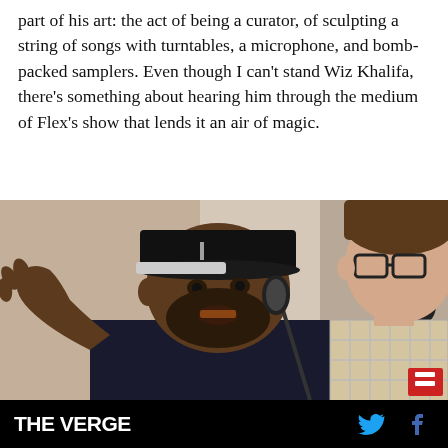part of his art: the act of being a curator, of sculpting a string of songs with turntables, a microphone, and bomb-packed samplers. Even though I can't stand Wiz Khalifa, there's something about hearing him through the medium of Flex's show that lends it an air of magic.
[Figure (photo): A man in a black snapback cap gesturing with his hand near a microphone, speaking to another person on the right who wears glasses, in an interview or panel setting.]
THE VERGE